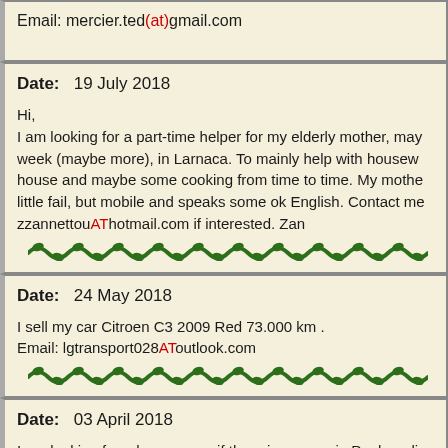Email: mercier.ted(at)gmail.com
Date: 19 July 2018

Hi,
I am looking for a part-time helper for my elderly mother, may week (maybe more), in Larnaca. To mainly help with housew house and maybe some cooking from time to time. My mothe little fail, but mobile and speaks some ok English. Contact me zzannettouAThotmail.com if interested. Zan
Date: 24 May 2018

I sell my car Citroen C3 2009 Red 73.000 km .
Email: lgtransport028AToutlook.com
Date: 03 April 2018

I am looking for a home swap if there is anyone in Paphos dis who would like to come to England for next autumn and winte to Coral Bay next Sunday. I live in Orpington, Kent and have semi with a garden. Thanks. Heather